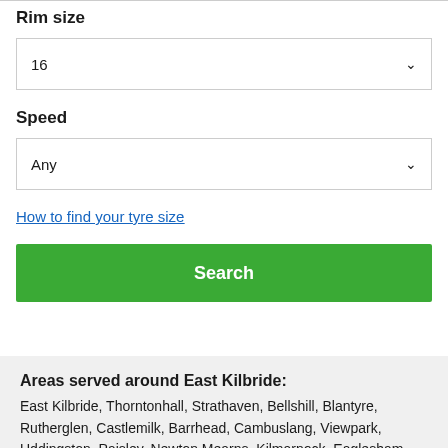Rim size
16
Speed
Any
How to find your tyre size
Search
Areas served around East Kilbride:
East Kilbride, Thorntonhall, Strathaven, Bellshill, Blantyre, Rutherglen, Castlemilk, Barrhead, Cambuslang, Viewpark, Uddingston, Paisley, Newton Mearns, Kilmarnock, Eaglesham, Fenwick